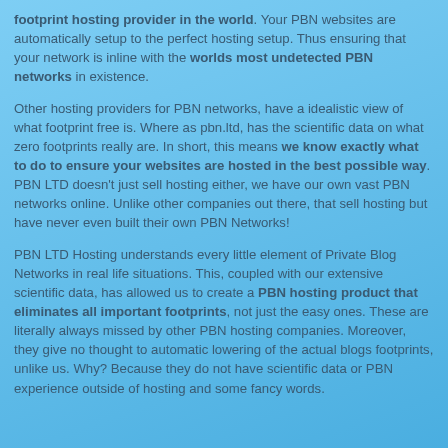footprint hosting provider in the world. Your PBN websites are automatically setup to the perfect hosting setup. Thus ensuring that your network is inline with the worlds most undetected PBN networks in existence.
Other hosting providers for PBN networks, have a idealistic view of what footprint free is. Where as pbn.ltd, has the scientific data on what zero footprints really are. In short, this means we know exactly what to do to ensure your websites are hosted in the best possible way. PBN LTD doesn't just sell hosting either, we have our own vast PBN networks online. Unlike other companies out there, that sell hosting but have never even built their own PBN Networks!
PBN LTD Hosting understands every little element of Private Blog Networks in real life situations. This, coupled with our extensive scientific data, has allowed us to create a PBN hosting product that eliminates all important footprints, not just the easy ones. These are literally always missed by other PBN hosting companies. Moreover, they give no thought to automatic lowering of the actual blogs footprints, unlike us. Why? Because they do not have scientific data or PBN experience outside of hosting and some fancy words.